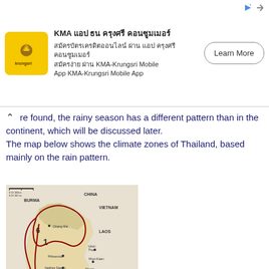[Figure (other): Advertisement banner for KMA-Krungsri Mobile App with yellow logo, Thai and English text, and 'Learn More' button]
re found, the rainy season has a different pattern than in the continent, which will be discussed later.
The map below shows the climate zones of Thailand, based mainly on the rain pattern.
[Figure (map): Map of Thailand showing climate zones numbered 1, 2, 3, 6, with surrounding countries China, Vietnam, Burma, Laos, Cambodia labeled, and cities including Chiang Mai, Udon Thon, Phitsanulok, Nakhon Sawan, Khon Kaen, Khorat Plateau, Ubon Ratchamani, Nakhon Ratchasima, Bangkok, Laem Chabang, Si Racha, Sattahip, Surat. Dark red boundary lines delineate climate zones. Gulf of Thailand labeled at bottom.]